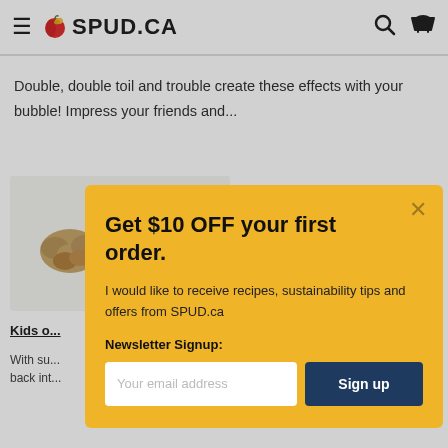SPUD.CA
Double, double toil and trouble create these effects with your bubble! Impress your friends and...
[Figure (photo): Food items including nuts, a honey jar, and apples on a light background]
Kids o...
With su... back int...
Get $10 OFF your first order.
I would like to receive recipes, sustainability tips and offers from SPUD.ca
Newsletter Signup:
Your email address  Sign up